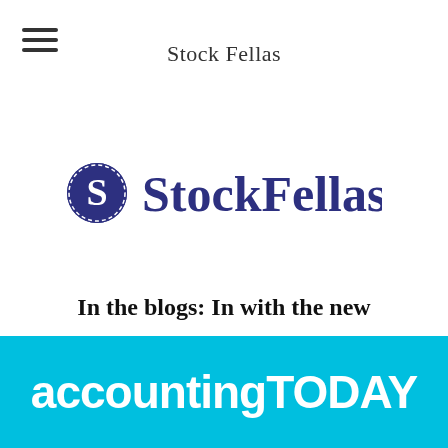Stock Fellas
[Figure (logo): StockFellas logo with circular S icon and bold navy text]
In the blogs: In with the new
[Figure (logo): Accounting Today logo in white text on cyan background]